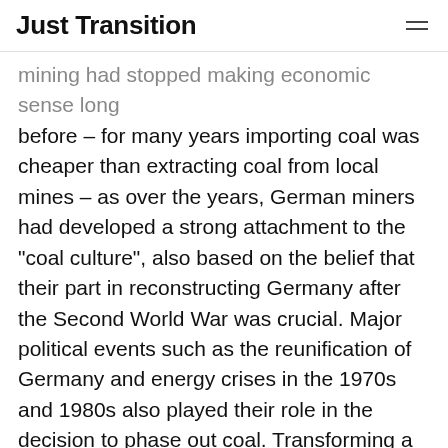Just Transition
mining had stopped making economic sense long before – for many years importing coal was cheaper than extracting coal from local mines – as over the years, German miners had developed a strong attachment to the “coal culture”, also based on the belief that their part in reconstructing Germany after the Second World War was crucial. Major political events such as the reunification of Germany and energy crises in the 1970s and 1980s also played their role in the decision to phase out coal. Transforming a large sector of the economy like the coal industry was a Herculean task that took more than three decades, vast amounts of state aid and long-term negotiations among the different stakeholders.